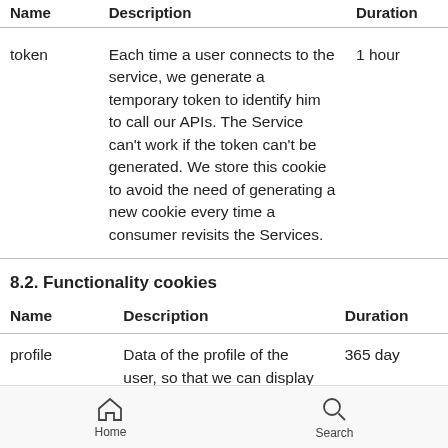| Name | Description | Duration |
| --- | --- | --- |
| token | Each time a user connects to the service, we generate a temporary token to identify him to call our APIs. The Service can't work if the token can't be generated. We store this cookie to avoid the need of generating a new cookie every time a consumer revisits the Services. | 1 hour |
8.2. Functionality cookies
| Name | Description | Duration |
| --- | --- | --- |
| profile | Data of the profile of the user, so that we can display his | 365 day |